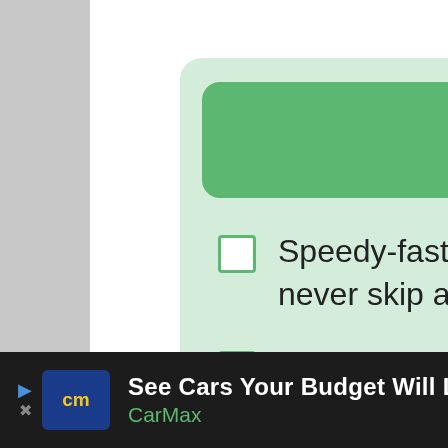Pros
Speedy-fast frame rate so you never skip a beat
Excellent burst
Lightning-quick auto-focus so you're always ready for action
WHAT'S NEXT → How Much You Should Expe...
See Cars Your Budget Will Love CarMax